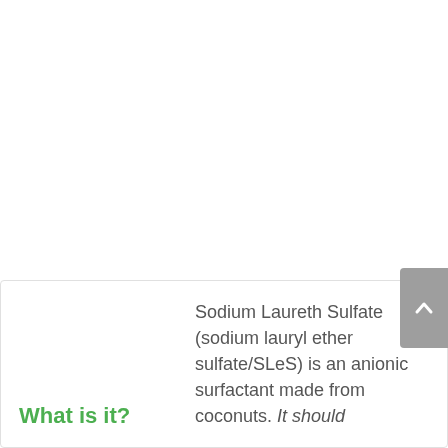What is it?
Sodium Laureth Sulfate (sodium lauryl ether sulfate/SLeS) is an anionic surfactant made from coconuts. It should